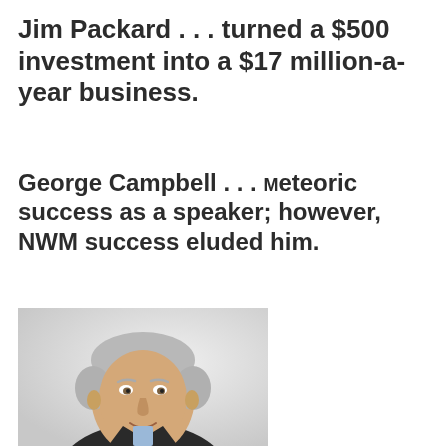Jim Packard . . . turned a $500 investment into a $17 million-a-year business.
George Campbell . . . Meteoric success as a speaker; however, NWM success eluded him.
[Figure (photo): Headshot of an older man with white/gray hair, wearing a dark blazer and light blue collared shirt, smiling slightly, against a light gray background.]